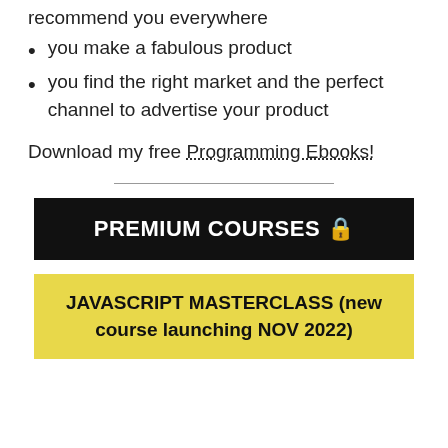recommend you everywhere
you make a fabulous product
you find the right market and the perfect channel to advertise your product
Download my free Programming Ebooks!
PREMIUM COURSES 🔒
JAVASCRIPT MASTERCLASS (new course launching NOV 2022)